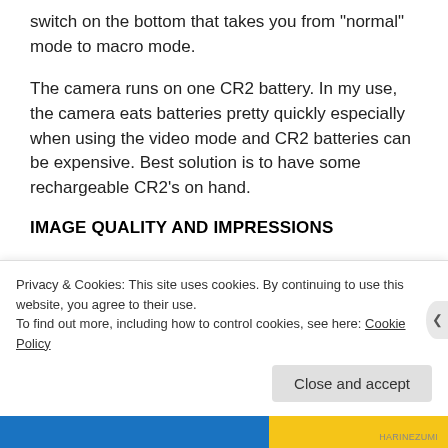switch on the bottom that takes you from “normal” mode to macro mode.
The camera runs on one CR2 battery. In my use, the camera eats batteries pretty quickly especially when using the video mode and CR2 batteries can be expensive. Best solution is to have some rechargeable CR2’s on hand.
IMAGE QUALITY AND IMPRESSIONS
I’ve only had this thing for a few months, although I’ve been interested in Digital Harinezumi cameras for years
Privacy & Cookies: This site uses cookies. By continuing to use this website, you agree to their use.
To find out more, including how to control cookies, see here: Cookie Policy
Close and accept